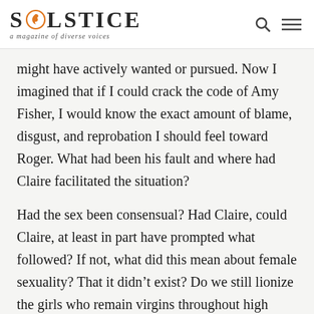SOLSTICE a magazine of diverse voices
might have actively wanted or pursued. Now I imagined that if I could crack the code of Amy Fisher, I would know the exact amount of blame, disgust, and reprobation I should feel toward Roger. What had been his fault and where had Claire facilitated the situation?
Had the sex been consensual? Had Claire, could Claire, at least in part have prompted what followed? If not, what did this mean about female sexuality? That it didn't exist? Do we still lionize the girls who remain virgins throughout high school? Is it lack of desire or denial of one's desire that is to be cultivated for girls and women?